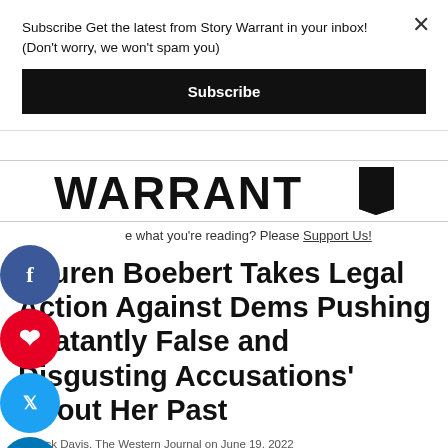Subscribe Get the latest from Story Warrant in your inbox! (Don't worry, we won't spam you)
[Figure (other): Black Subscribe button]
[Figure (logo): WARRANT logo with badge mark]
Like what you're reading? Please Support Us!
Lauren Boebert Takes Legal Action Against Dems Pushing 'Blatantly False and Disgusting Accusations' About Her Past
by Jack Davis, The Western Journal on June 19, 2022